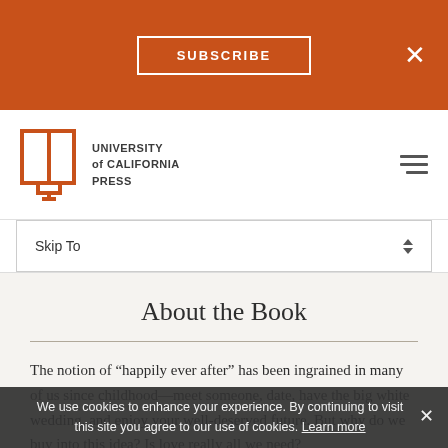[Figure (screenshot): University of California Press website screenshot showing subscribe bar, navigation with logo, skip-to dropdown, About the Book section, and cookie consent bar]
About the Book
The notion of “happily ever after” has been ingrained in many of us since childhood—meet someone, date, have the big white wedding, and enjoy your well-deserved future. But why do we buy into this idea? Is love really all we need?
We use cookies to enhance your experience. By continuing to visit this site you agree to our use of cookies. Learn more